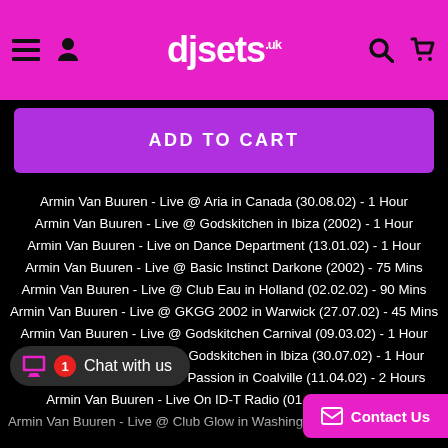djsets.co.uk
ADD TO CART
Armin Van Buuren - Live @ Aria in Canada (30.08.02) - 1 Hour
Armin Van Buuren - Live @ Godskitchen in Ibiza (2002) - 1 Hour
Armin Van Buuren - Live on Dance Department (13.01.02) - 1 Hour
Armin Van Buuren - Live @ Basic Instinct Darkone (2002) - 75 Mins
Armin Van Buuren - Live @ Club Eau in Holland (02.02.02) - 90 Mins
Armin Van Buuren - Live @ GKGG 2002 in Warwick (27.07.02) - 45 Mins
Armin Van Buuren - Live @ Godskitchen Carnival (09.03.02) - 1 Hour
Armin Van Buuren - Live @ Godskitchen in Ibiza (30.07.02) - 1 Hour
Armin Van Buuren - Live @ Passion in Coalville (11.04.02) - 2 Hours
Armin Van Buuren - Live On ID-T Radio (01.04.02) - 90 Mins
Armin Van Buuren - Live @ Club Glow in Washington (13.06.02) - 2 Hours
Armin Van Buuren - Live @ Lloret Festival (25.07.02) - 90 Mins
Armin Van Buuren - Live @ Lovefields in Holland (11.08.02) - 1 Hour
Armin Van Buuren - Live @ Sensation in Amsterdam (27.07.02) - ...
Armin Van Buuren & Ferry Corsten - Live on ID...
Chat with us
Contact Us